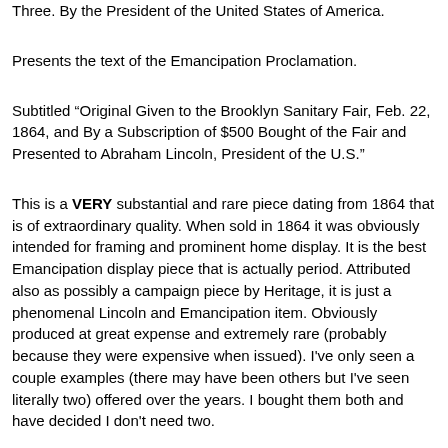Three. By the President of the United States of America.
Presents the text of the Emancipation Proclamation.
Subtitled “Original Given to the Brooklyn Sanitary Fair, Feb. 22, 1864, and By a Subscription of $500 Bought of the Fair and Presented to Abraham Lincoln, President of the U.S.”
This is a VERY substantial and rare piece dating from 1864 that is of extraordinary quality. When sold in 1864 it was obviously intended for framing and prominent home display. It is the best Emancipation display piece that is actually period. Attributed also as possibly a campaign piece by Heritage, it is just a phenomenal Lincoln and Emancipation item. Obviously produced at great expense and extremely rare (probably because they were expensive when issued). I've only seen a couple examples (there may have been others but I've seen literally two) offered over the years. I bought them both and have decided I don't need two.
Personally I think this piece should be worth multiples of the asking price. But it is so rare that no one is really familiar with the item. I got